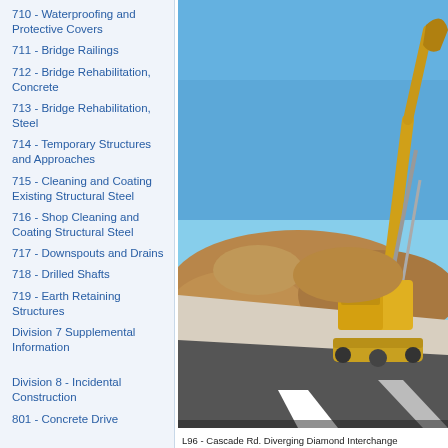710 - Waterproofing and Protective Covers
711 - Bridge Railings
712 - Bridge Rehabilitation, Concrete
713 - Bridge Rehabilitation, Steel
714 - Temporary Structures and Approaches
715 - Cleaning and Coating Existing Structural Steel
716 - Shop Cleaning and Coating Structural Steel
717 - Downspouts and Drains
718 - Drilled Shafts
719 - Earth Retaining Structures
Division 7 Supplemental Information
Division 8 - Incidental Construction
801 - Concrete Drive
[Figure (photo): Yellow excavator/construction equipment working on a road construction site with a mound of dirt/earth in the background and freshly paved road in foreground, under clear blue sky.]
L96 - Cascade Rd. Diverging Diamond Interchange